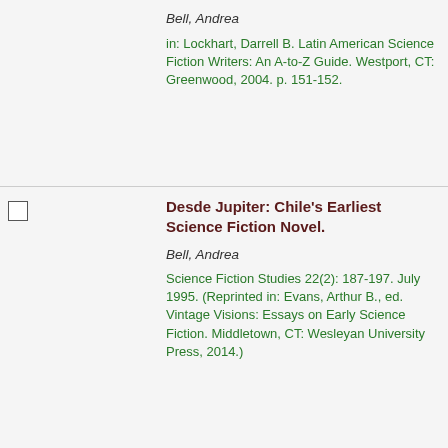Bell, Andrea
in: Lockhart, Darrell B. Latin American Science Fiction Writers: An A-to-Z Guide. Westport, CT: Greenwood, 2004. p. 151-152.
Desde Jupiter: Chile's Earliest Science Fiction Novel.
Bell, Andrea
Science Fiction Studies 22(2): 187-197. July 1995. (Reprinted in: Evans, Arthur B., ed. Vintage Visions: Essays on Early Science Fiction. Middletown, CT: Wesleyan University Press, 2014.)